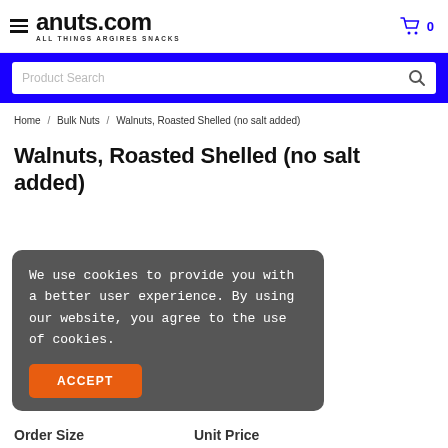anuts.com ALL THINGS ARGIRES SNACKS — Cart 0
Product Search
Home / Bulk Nuts / Walnuts, Roasted Shelled (no salt added)
Walnuts, Roasted Shelled (no salt added)
We use cookies to provide you with a better user experience. By using our website, you agree to the use of cookies. ACCEPT
Order Size   Unit Price